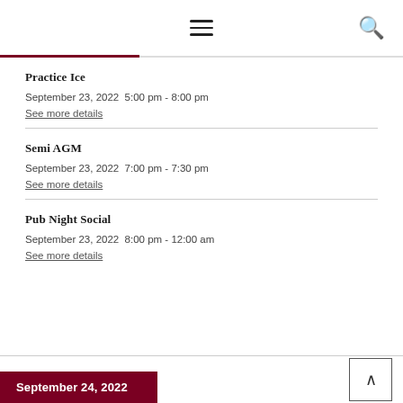≡ (menu icon) 🔍 (search icon)
Practice Ice
September 23, 2022  5:00 pm - 8:00 pm
See more details
Semi AGM
September 23, 2022  7:00 pm - 7:30 pm
See more details
Pub Night Social
September 23, 2022  8:00 pm - 12:00 am
See more details
September 24, 2022